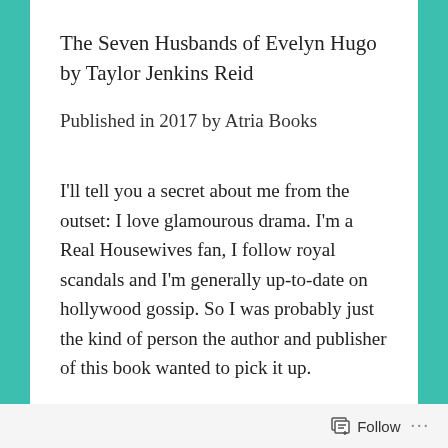The Seven Husbands of Evelyn Hugo by Taylor Jenkins Reid
Published in 2017 by Atria Books
I'll tell you a secret about me from the outset: I love glamourous drama. I'm a Real Housewives fan, I follow royal scandals and I'm generally up-to-date on hollywood gossip. So I was probably just the kind of person the author and publisher of this book wanted to pick it up.
Follow